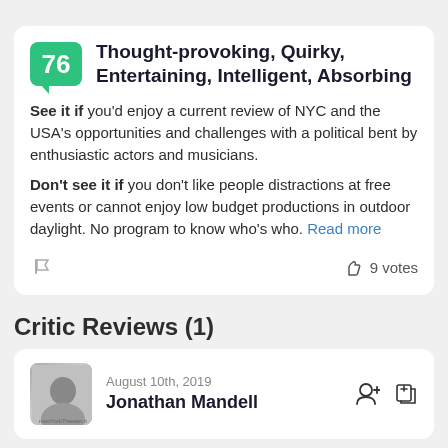[Figure (other): Cropped circular avatar photo at top of page]
Thought-provoking, Quirky, Entertaining, Intelligent, Absorbing
See it if you'd enjoy a current review of NYC and the USA's opportunities and challenges with a political bent by enthusiastic actors and musicians.
Don't see it if you don't like people distractions at free events or cannot enjoy low budget productions in outdoor daylight. No program to know who's who. Read more
9 votes
Critic Reviews (1)
August 10th, 2019
Jonathan Mandell